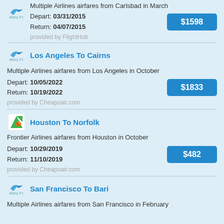Multiple Airlines airfares from Carlsbad in March
Depart: 03/31/2015
Return: 04/07/2015
$1598
provided by FlightHub
Los Angeles To Cairns
Multiple Airlines airfares from Los Angeles in October
Depart: 10/05/2022
Return: 10/19/2022
$1833
provided by Cheapoair.com
Houston To Norfolk
Frontier Airlines airfares from Houston in October
Depart: 10/29/2019
Return: 11/10/2019
$482
provided by Cheapoair.com
San Francisco To Bari
Multiple Airlines airfares from San Francisco in February